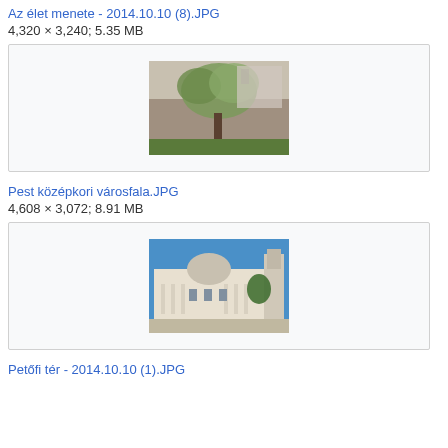Az élet menete - 2014.10.10 (8).JPG
4,320 × 3,240; 5.35 MB
[Figure (photo): Photo of a tree against a stone wall with greenery, medieval city wall of Pest]
Pest középkori városfala.JPG
4,608 × 3,072; 8.91 MB
[Figure (photo): Photo of a neoclassical building with a dome under a blue sky, Petőfi tér area]
Petőfi tér - 2014.10.10 (1).JPG